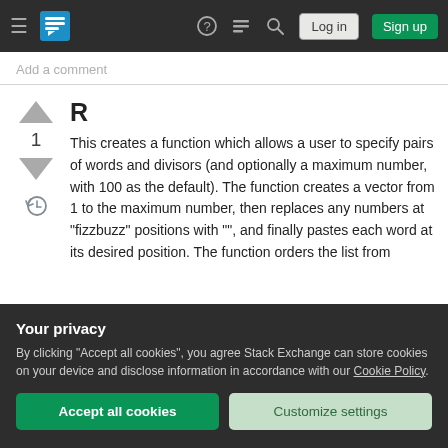Stack Exchange navigation bar with Log in and Sign up buttons
Add a comment
R
This creates a function which allows a user to specify pairs of words and divisors (and optionally a maximum number, with 100 as the default). The function creates a vector from 1 to the maximum number, then replaces any numbers at "fizzbuzz" positions with "", and finally pastes each word at its desired position. The function orders the list from
Your privacy
By clicking "Accept all cookies", you agree Stack Exchange can store cookies on your device and disclose information in accordance with our Cookie Policy.
Accept all cookies
Customize settings